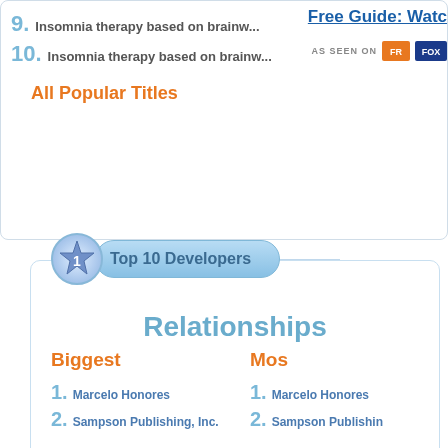9. Insomnia therapy based on brainw...
10. Insomnia therapy based on brainw...
All Popular Titles
Free Guide: Watc
AS SEEN ON
Top 10 Developers
Relationships
Biggest
Mos
1. Marcelo Honores
2. Sampson Publishing, Inc.
1. Marcelo Honores
2. Sampson Publishin
Products List
Relationships